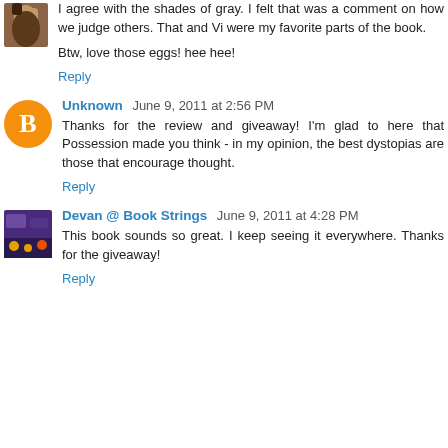[Figure (photo): Small avatar image of a person, brown tones]
I agree with the shades of gray. I felt that was a comment on how we judge others. That and Vi were my favorite parts of the book.
Btw, love those eggs! hee hee!
Reply
[Figure (photo): Blogger avatar icon, orange circle with B]
Unknown  June 9, 2011 at 2:56 PM
Thanks for the review and giveaway! I'm glad to here that Possession made you think - in my opinion, the best dystopias are those that encourage thought.
Reply
[Figure (photo): Book Strings blog avatar, purple background]
Devan @ Book Strings  June 9, 2011 at 4:28 PM
This book sounds so great. I keep seeing it everywhere. Thanks for the giveaway!
Reply